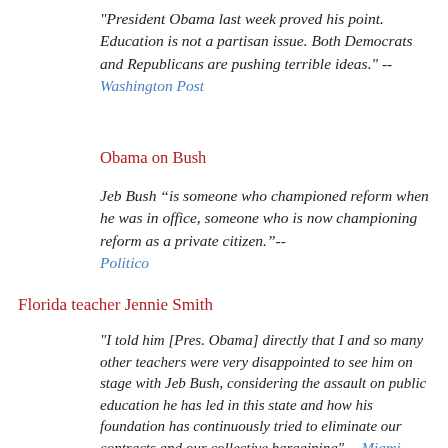"President Obama last week proved his point. Education is not a partisan issue. Both Democrats and Republicans are pushing terrible ideas." --Washington Post
Obama on Bush
Jeb Bush “is someone who championed reform when he was in office, someone who is now championing reform as a private citizen.”-- Politico
Florida teacher Jennie Smith
"I told him [Pres. Obama] directly that I and so many other teachers were very disappointed to see him on stage with Jeb Bush, considering the assault on public education he has led in this state and how his foundation has continuously tried to eliminate our contracts and our collective bargaining" -- Miami Examiner.com